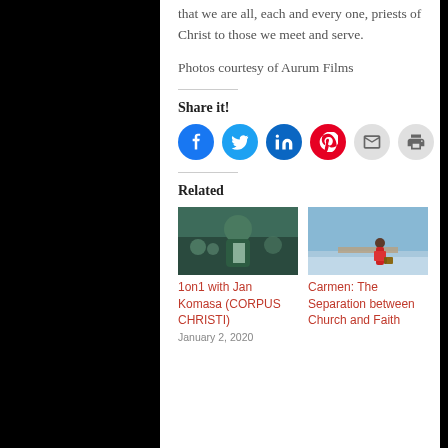that we are all, each and every one, priests of Christ to those we meet and serve.
Photos courtesy of Aurum Films
Share it!
[Figure (infographic): Social sharing icons: Facebook (blue), Twitter (light blue), LinkedIn (dark blue), Pinterest (red), Email (gray), Print (gray)]
Related
[Figure (photo): Photo for 1on1 with Jan Komasa (CORPUS CHRISTI) article]
1on1 with Jan Komasa (CORPUS CHRISTI)
January 2, 2020
[Figure (photo): Photo for Carmen: The Separation between Church and Faith article]
Carmen: The Separation between Church and Faith